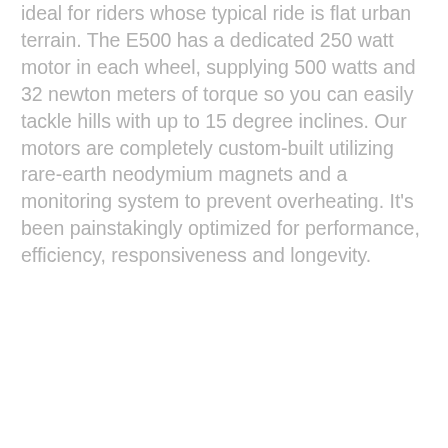ideal for riders whose typical ride is flat urban terrain. The E500 has a dedicated 250 watt motor in each wheel, supplying 500 watts and 32 newton meters of torque so you can easily tackle hills with up to 15 degree inclines. Our motors are completely custom-built utilizing rare-earth neodymium magnets and a monitoring system to prevent overheating. It’s been painstakingly optimized for performance, efficiency, responsiveness and longevity.